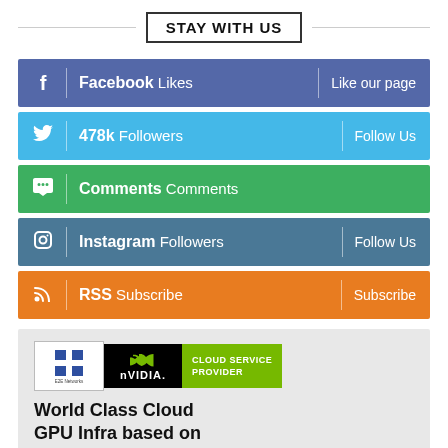STAY WITH US
Facebook Likes | Like our page
478k Followers | Follow Us
Comments Comments
Instagram Followers | Follow Us
RSS Subscribe | Subscribe
[Figure (infographic): Advertisement banner for E2E Networks NVIDIA Cloud Service Provider featuring logo and headline 'World Class Cloud GPU Infra based on']